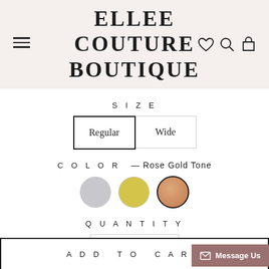ELLEE COUTURE BOUTIQUE
SIZE
Regular | Wide
COLOR — Rose Gold Tone
[Figure (other): Three color swatches: silver, gold, and rose gold tone (selected)]
QUANTITY
- 1 +
ADD TO CART
Message Us